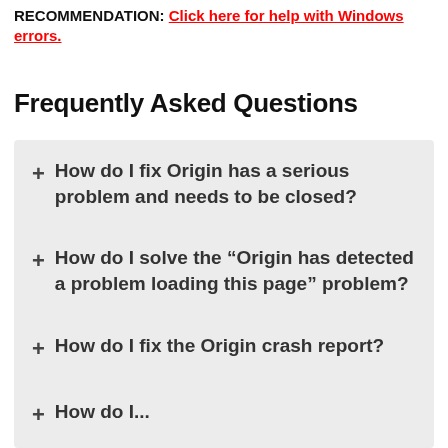RECOMMENDATION: Click here for help with Windows errors.
Frequently Asked Questions
+ How do I fix Origin has a serious problem and needs to be closed?
+ How do I solve the “Origin has detected a problem loading this page” problem?
+ How do I fix the Origin crash report?
+ How do I...the Origin...?